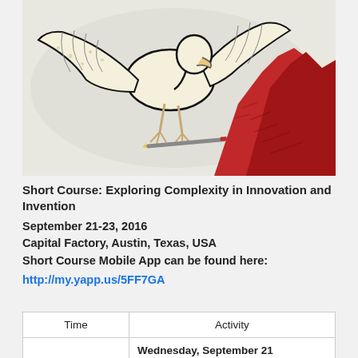[Figure (illustration): Illustration of a large white bird (eagle/pelican) with spread wings, claws gripping a pencil or pen, drawing or scratching against a red jagged mountain or landscape on the right side. Black and white line art with red color accent on the right portion.]
Short Course: Exploring Complexity in Innovation and Invention
September 21-23, 2016
Capital Factory, Austin, Texas, USA
Short Course Mobile App can be found here:
http://my.yapp.us/5FF7GA
| Time | Activity |
| --- | --- |
|  | Wednesday, September 21 |